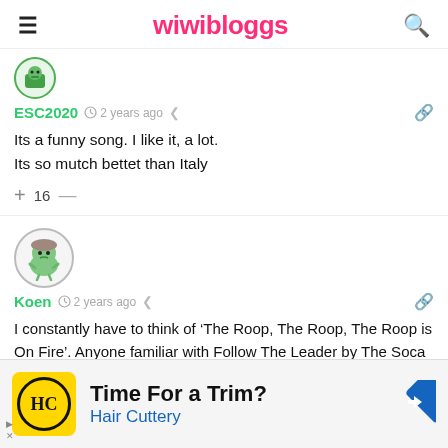wiwibloggs
ESC2020  2 years ago
Its a funny song. I like it, a lot.
Its so mutch bettet than Italy
+ 16 —
[Figure (illustration): Green cartoon monster avatar in a circle]
Koen  2 years ago
I constantly have to think of ‘The Roop, The Roop, The Roop is On Fire’. Anyone familiar with Follow The Leader by The Soca Boys? □ I really like this performance. It’s bizarre, yet not too as to become unhinged with the audience. It tries
Time For a Trim?
Hair Cuttery